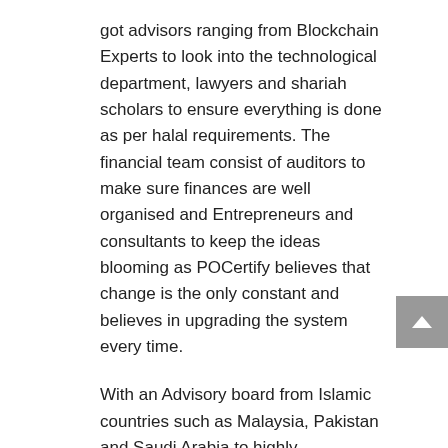got advisors ranging from Blockchain Experts to look into the technological department, lawyers and shariah scholars to ensure everything is done as per halal requirements. The financial team consist of auditors to make sure finances are well organised and Entrepreneurs and consultants to keep the ideas blooming as POCertify believes that change is the only constant and believes in upgrading the system every time.
With an Advisory board from Islamic countries such as Malaysia, Pakistan and Saudi Arabia to highly experienced halal markets such as South Africa and UK, POCertify is growing towards the right direction.
Future Plans
A partnership with the Halal Research Council based in Pakistan is currently being negotiated along with 35 strategic partners around the world.